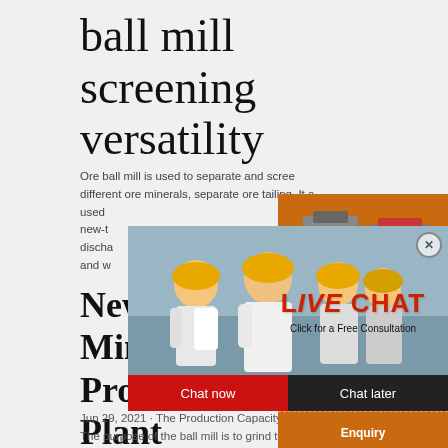ball mill screening versatility
Ore ball mill is used to separate and screening different ore minerals, separate ore tailing. It a used new-t discha and w
News & Resources Mineral Processing Plant
[Figure (screenshot): Live chat popup overlay showing workers in hard hats, LIVE CHAT heading in red, Click for a Free Consultation text, Chat now and Chat later buttons]
[Figure (infographic): Orange sidebar panel with mining machinery images, Enjoy 3% discount text in yellow, Click to Chat button, Enquiry section, and limingjlmofen@sina.com email]
Jun 29, 2021 · The Production Capacity o The purpose of the ball mill is to grind the materials to qualified particle size. Depending on more than 30